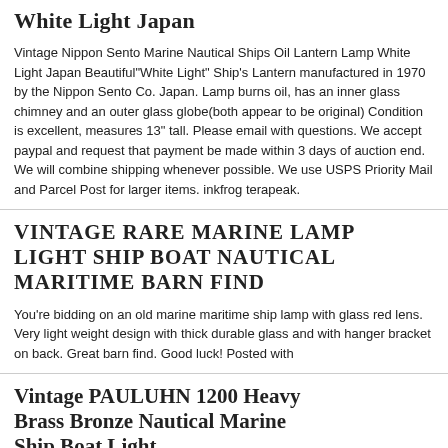White Light Japan
Vintage Nippon Sento Marine Nautical Ships Oil Lantern Lamp White Light Japan Beautiful"White Light" Ship's Lantern manufactured in 1970 by the Nippon Sento Co. Japan. Lamp burns oil, has an inner glass chimney and an outer glass globe(both appear to be original) Condition is excellent, measures 13" tall. Please email with questions. We accept paypal and request that payment be made within 3 days of auction end. We will combine shipping whenever possible. We use USPS Priority Mail and Parcel Post for larger items. inkfrog terapeak.
VINTAGE RARE MARINE LAMP LIGHT SHIP BOAT NAUTICAL MARITIME BARN FIND
You're bidding on an old marine maritime ship lamp with glass red lens. Very light weight design with thick durable glass and with hanger bracket on back. Great barn find. Good luck! Posted with
Vintage PAULUHN 1200 Heavy Brass Bronze Nautical Marine Ship Boat Light
Excellent Pre-Owned Original Condition Vintage PAULUHN 1200 Heavy Brass Bronze Nautical Marine Ship Boat Light 8 1/2" tall. 4 3/8" diameter base with mounting tabs extending it to 5 7/8" Heavy glass lens screws into base and solid brass cage screws onto base over lens.
Vintage E Miller & Co Marine Anchor Light/Lamp/Lantern